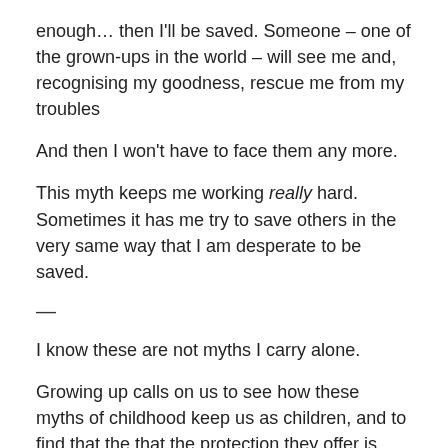enough… then I'll be saved. Someone – one of the grown-ups in the world – will see me and, recognising my goodness, rescue me from my troubles
And then I won't have to face them any more.
This myth keeps me working really hard. Sometimes it has me try to save others in the very same way that I am desperate to be saved.
—
I know these are not myths I carry alone.
Growing up calls on us to see how these myths of childhood keep us as children, and to find that the that the protection they offer is little protection at all:
Myth 1 is the myth of specialness. It boosts our self-